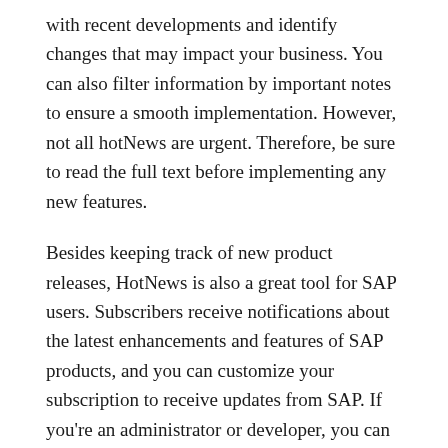with recent developments and identify changes that may impact your business. You can also filter information by important notes to ensure a smooth implementation. However, not all hotNews are urgent. Therefore, be sure to read the full text before implementing any new features.
Besides keeping track of new product releases, HotNews is also a great tool for SAP users. Subscribers receive notifications about the latest enhancements and features of SAP products, and you can customize your subscription to receive updates from SAP. If you're an administrator or developer, you can subscribe to receive news about changes in your system and help users troubleshoot any issues. You can customize the newsletter so it is as helpful for you as possible.
HotNews has many benefits, including a free